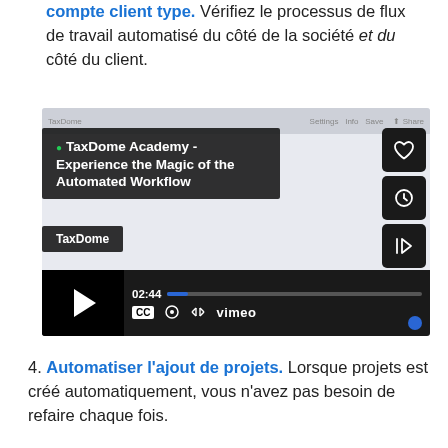compte client type. Vérifiez le processus de flux de travail automatisé du côté de la société et du côté du client.
[Figure (screenshot): Vimeo video player screenshot showing 'TaxDome Academy - Experience the Magic of the Automated Workflow' video with playback controls, timestamp 02:44, CC button, settings, fullscreen, and Vimeo branding. TaxDome channel tag visible.]
4. Automatiser l'ajout de projets. Lorsque projets est créé automatiquement, vous n'avez pas besoin de refaire chaque fois.